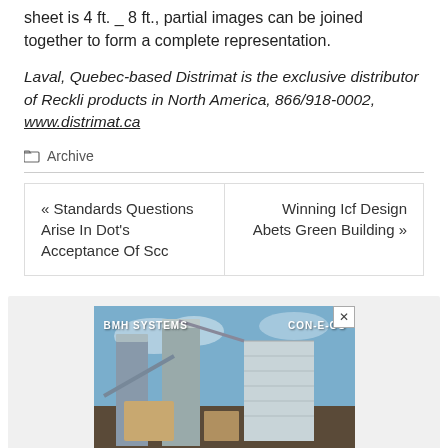sheet is 4 ft. _ 8 ft., partial images can be joined together to form a complete representation.
Laval, Quebec-based Distrimat is the exclusive distributor of Reckli products in North America, 866/918-0002, www.distrimat.ca
Archive
« Standards Questions Arise In Dot's Acceptance Of Scc
Winning Icf Design Abets Green Building »
[Figure (photo): Industrial photo of BMH Systems and CON-E-CO equipment, showing large concrete plant or aggregate processing facility with silos and conveyor structures against a blue sky.]